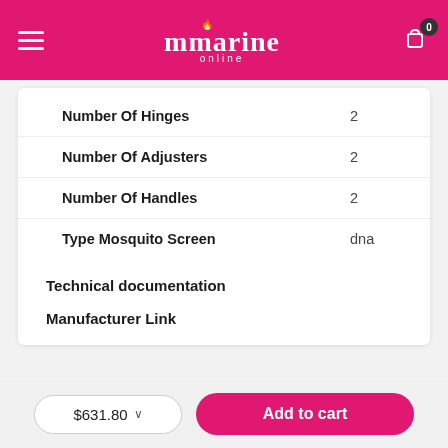mmarine online
| Attribute | Value |
| --- | --- |
| Number Of Hinges | 2 |
| Number Of Adjusters | 2 |
| Number Of Handles | 2 |
| Type Mosquito Screen | dna |
Technical documentation
Manufacturer Link
$631.80
Add to cart